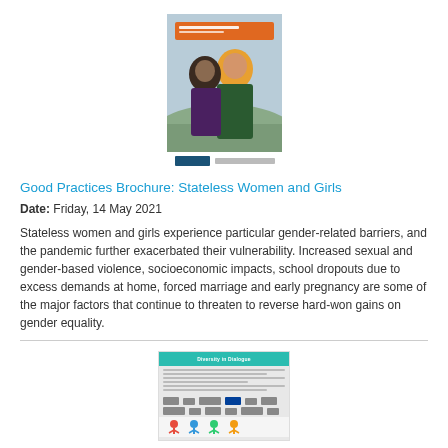[Figure (illustration): Cover image of a brochure titled 'Good Practices Brochure: Stateless Women and Girls' showing two women, one wearing an orange hijab, in an outdoor setting with an UNHCR logo at the bottom]
Good Practices Brochure: Stateless Women and Girls
Date: Friday, 14 May 2021
Stateless women and girls experience particular gender-related barriers, and the pandemic further exacerbated their vulnerability. Increased sexual and gender-based violence, socioeconomic impacts, school dropouts due to excess demands at home, forced marriage and early pregnancy are some of the major factors that continue to threaten to reverse hard-won gains on gender equality.
[Figure (illustration): Thumbnail of a document titled 'Diversity in Dialogue' with teal header, body text, logos and partner organization marks at the bottom, and a partial image of colorful illustrated figures at the very bottom]